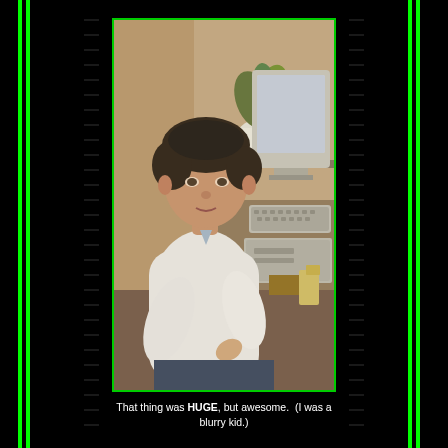[Figure (photo): A young boy with dark hair, wearing a white long-sleeve shirt, sitting at a large old computer setup with a monitor, keyboard, and desk. There is a potted plant in the background. The photo appears to be from the late 1980s or early 1990s and is somewhat blurry.]
That thing was HUGE, but awesome.  (I was a blurry kid.)